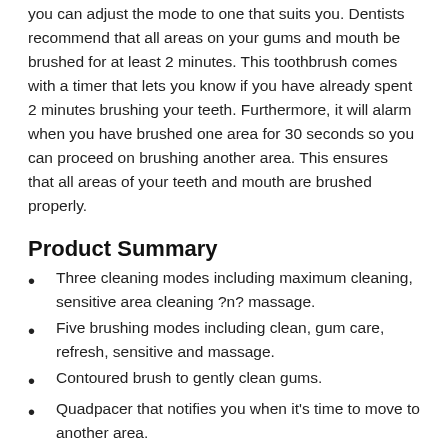you can adjust the mode to one that suits you. Dentists recommend that all areas on your gums and mouth be brushed for at least 2 minutes. This toothbrush comes with a timer that lets you know if you have already spent 2 minutes brushing your teeth. Furthermore, it will alarm when you have brushed one area for 30 seconds so you can proceed on brushing another area. This ensures that all areas of your teeth and mouth are brushed properly.
Product Summary
Three cleaning modes including maximum cleaning, sensitive area cleaning ?n? massage.
Five brushing modes including clean, gum care, refresh, sensitive and massage.
Contoured brush to gently clean gums.
Quadpacer that notifies you when it's time to move to another area.
Smart timer that tells you when you have been brushing